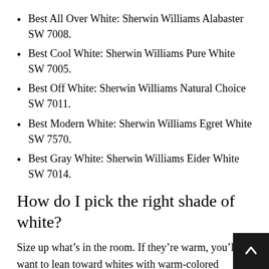Best All Over White: Sherwin Williams Alabaster SW 7008.
Best Cool White: Sherwin Williams Pure White SW 7005.
Best Off White: Sherwin Williams Natural Choice SW 7011.
Best Modern White: Sherwin Williams Egret White SW 7570.
Best Gray White: Sherwin Williams Eider White SW 7014.
How do I pick the right shade of white?
Size up what’s in the room. If they’re warm, you’ll want to lean toward whites with warm-colored undertones (pink, orange, red, yellow). If they’re cool, consider cool-inflected whites (with undertones of blue, pur… or green).